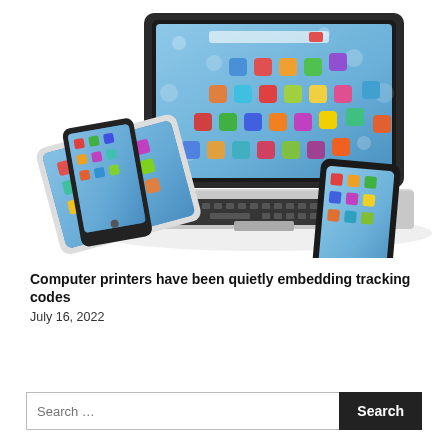[Figure (photo): Photo of a laptop computer with a colorful icon-filled screen, a tablet, and two smartphones arranged together on a white background.]
Computer printers have been quietly embedding tracking codes
July 16, 2022